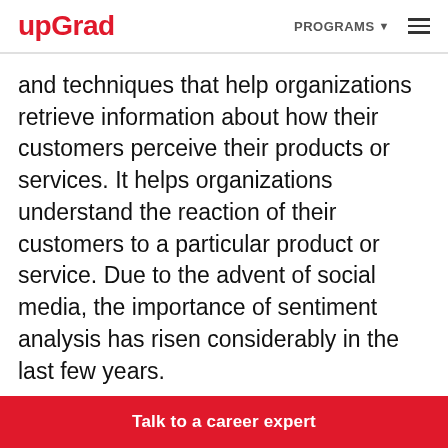upGrad | PROGRAMS
and techniques that help organizations retrieve information about how their customers perceive their products or services. It helps organizations understand the reaction of their customers to a particular product or service. Due to the advent of social media, the importance of sentiment analysis has risen considerably in the last few years.
In this project, you’ll create a simple sentiment
Talk to a career expert